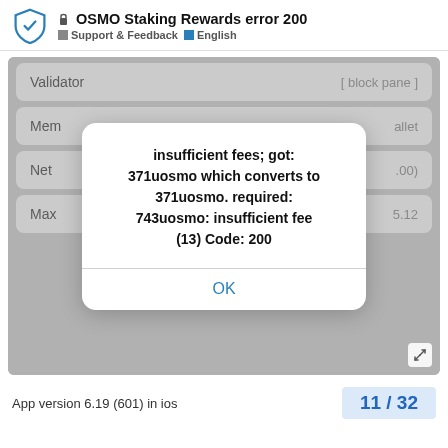OSMO Staking Rewards error 200 | Support & Feedback | English
[Figure (screenshot): Mobile app screenshot showing a staking transaction UI with a modal error dialog. The dialog reads: 'insufficient fees; got: 371uosmo which converts to 371uosmo. required: 743uosmo: insufficient fee (13) Code: 200' with an OK button. Background app rows show Validator, Memo, Network Fee, and Max fields.]
App version 6.19 (601) in ios
11 / 32